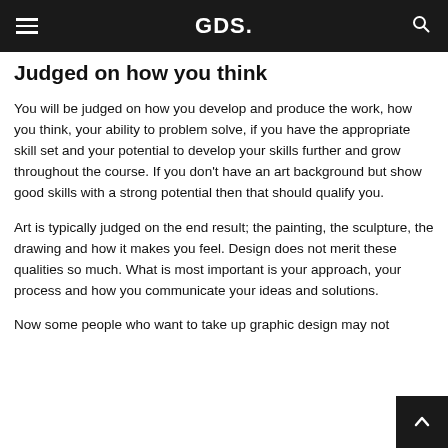approach your work and develop it.
GDS.
Judged on how you think
You will be judged on how you develop and produce the work, how you think, your ability to problem solve, if you have the appropriate skill set and your potential to develop your skills further and grow throughout the course. If you don't have an art background but show good skills with a strong potential then that should qualify you.
Art is typically judged on the end result; the painting, the sculpture, the drawing and how it makes you feel. Design does not merit these qualities so much. What is most important is your approach, your process and how you communicate your ideas and solutions.
Now some people who want to take up graphic design may not